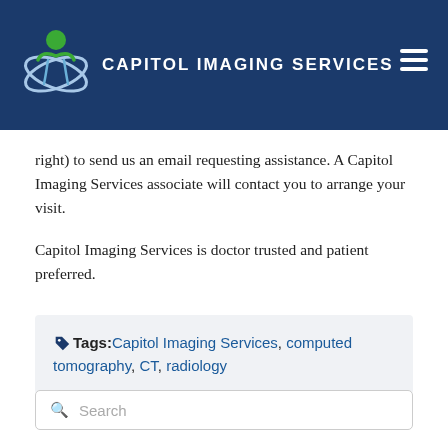Capitol Imaging Services
right) to send us an email requesting assistance. A Capitol Imaging Services associate will contact you to arrange your visit.
Capitol Imaging Services is doctor trusted and patient preferred.
Tags: Capitol Imaging Services, computed tomography, CT, radiology
Search